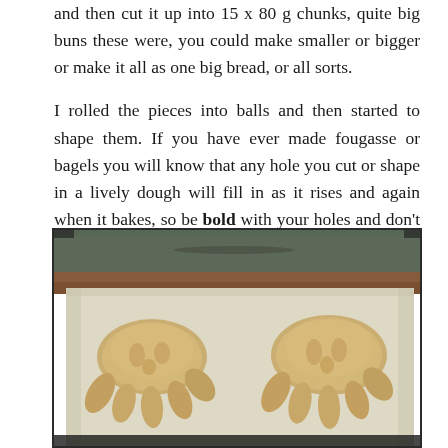and then cut it up into 15 x 80 g chunks, quite big buns these were, you could make smaller or bigger or make it all as one big bread, or all sorts.

I rolled the pieces into balls and then started to shape them. If you have ever made fougasse or bagels you will know that any hole you cut or shape in a lively dough will fill in as it rises and again when it bakes, so be bold with your holes and don't forget to stretch the shapes out sideways before you put them on your parchment lined trays to prove.
[Figure (photo): Two shaped bread rolls resembling fougasse or hand/fan shapes with finger-like protrusions, placed on a parchment-lined baking tray. The tray sits on a dark surface with a granite or stone background visible at the top.]